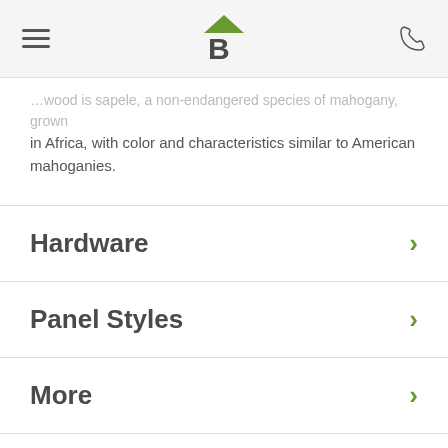Header with hamburger menu, logo, and phone icon
...wood is sapele, a non-endangered species of mahogany, grown in Africa, with color and characteristics similar to American mahoganies.
Hardware
Panel Styles
More
Product S...